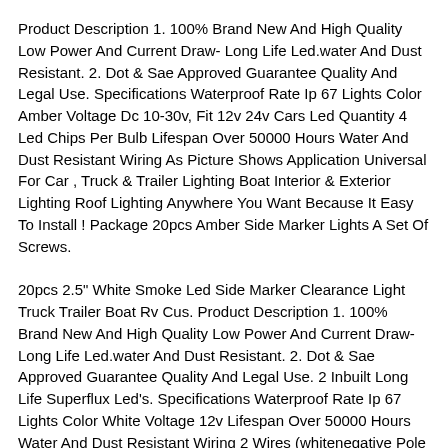Product Description 1. 100% Brand New And High Quality Low Power And Current Draw- Long Life Led.water And Dust Resistant. 2. Dot & Sae Approved Guarantee Quality And Legal Use. Specifications Waterproof Rate Ip 67 Lights Color Amber Voltage Dc 10-30v, Fit 12v 24v Cars Led Quantity 4 Led Chips Per Bulb Lifespan Over 50000 Hours Water And Dust Resistant Wiring As Picture Shows Application Universal For Car , Truck & Trailer Lighting Boat Interior & Exterior Lighting Roof Lighting Anywhere You Want Because It Easy To Install ! Package 20pcs Amber Side Marker Lights A Set Of Screws.
20pcs 2.5" White Smoke Led Side Marker Clearance Light Truck Trailer Boat Rv Cus. Product Description 1. 100% Brand New And High Quality Low Power And Current Draw- Long Life Led.water And Dust Resistant. 2. Dot & Sae Approved Guarantee Quality And Legal Use. 2 Inbuilt Long Life Superflux Led's. Specifications Waterproof Rate Ip 67 Lights Color White Voltage 12v Lifespan Over 50000 Hours Water And Dust Resistant Wiring 2 Wires (whitenegative Pole Black Positive Pole) Application Universal For Car , Truck & Trailer Lighting Boat Interior & Exterior Lighting Roof Lighting Anywhere You Want Because It Easy To Install ! Package 10pcsside Marker Lights.